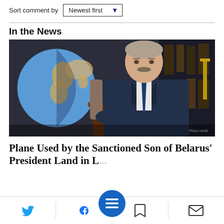Sort comment by  Newest first
In the News
[Figure (photo): A man in a dark navy suit and blue tie sits in an ornate chair. A globe is visible in the background to the left. Bookshelves and dark wooden furniture are in the background.]
Plane Used by the Sanctioned Son of Belarus' President Land in L...